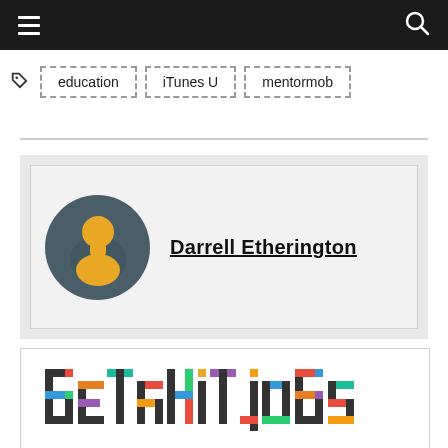Navigation bar with hamburger menu and search icon
education
iTunes U
mentormob
Darrell Etherington
[Figure (logo): betakit jobs logo with colorful pixelated/block letters]
betakit jobs